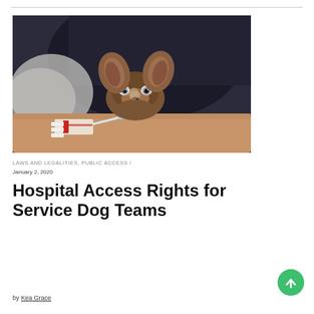[Figure (photo): A small Chihuahua dog resting its chin on a person's arm that has an IV line inserted, with hospital setting visible. Person wearing dark clothing in background.]
LAWS AND LEGALITIES, PUBLIC ACCESS / January 2, 2020
Hospital Access Rights for Service Dog Teams
by Kea Grace